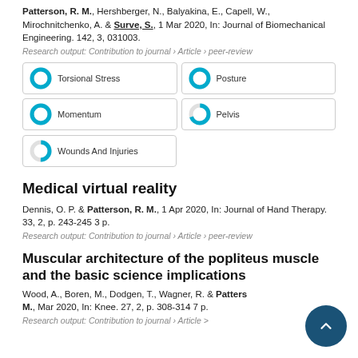Patterson, R. M., Hershberger, N., Balyakina, E., Capell, W., Mirochnitchenko, A. & Surve, S., 1 Mar 2020, In: Journal of Biomechanical Engineering. 142, 3, 031003.
Research output: Contribution to journal › Article › peer-review
[Figure (infographic): Five keyword badges with donut chart fill indicators: Torsional Stress 100%, Posture 100%, Momentum 100%, Pelvis ~70%, Wounds And Injuries ~50%]
Medical virtual reality
Dennis, O. P. & Patterson, R. M., 1 Apr 2020, In: Journal of Hand Therapy. 33, 2, p. 243-245 3 p.
Research output: Contribution to journal › Article › peer-review
Muscular architecture of the popliteus muscle and the basic science implications
Wood, A., Boren, M., Dodgen, T., Wagner, R. & Patterson, R. M., Mar 2020, In: Knee. 27, 2, p. 308-314 7 p.
Research output: Contribution to journal › Article › peer-review